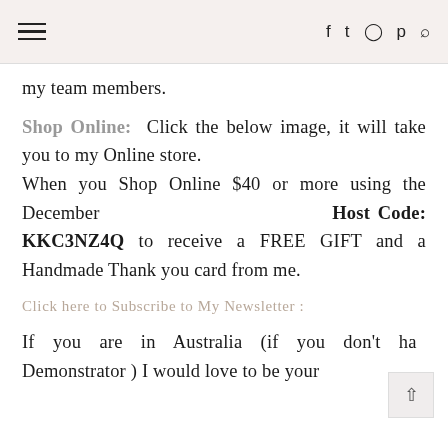☰   f  ✦  ⊙  ℗  🔍
my team members.
Shop Online:  Click the below image, it will take you to my Online store.
When you Shop Online $40 or more using the December                                          Host Code: KKC3NZ4Q to receive a FREE GIFT and a Handmade Thank you card from me.
Click here to Subscribe to My Newsletter :
If you are in Australia (if you don't hav Demonstrator ) I would love to be your